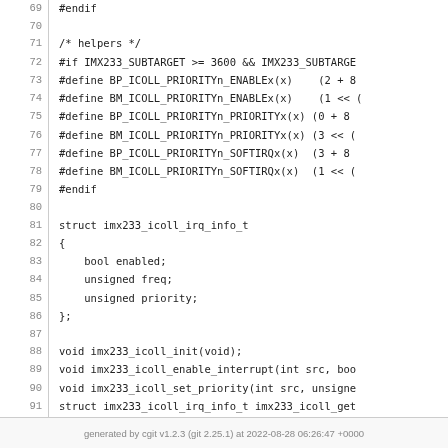Code listing lines 69-94 of imx233 ICOLL header file
generated by cgit v1.2.3 (git 2.25.1) at 2022-08-28 06:26:47 +0000